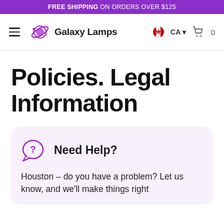FREE SHIPPING ON ORDERS OVER $125
[Figure (logo): Galaxy Lamps logo with planet/orbit icon and navigation bar showing CA flag, cart icon]
Policies. Legal Information
Need Help?
Houston – do you have a problem? Let us know, and we'll make things right